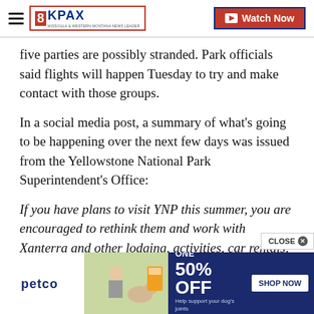8KPAX | Watch Now
five parties are possibly stranded. Park officials said flights will happen Tuesday to try and make contact with those groups.
In a social media post, a summary of what's going to be happening over the next few days was issued from the Yellowstone National Park Superintendent's Office:
If you have plans to visit YNP this summer, you are encouraged to rethink them and work with Xanterra and other lodging, activities, car rentals, etc to modify those.
[Figure (screenshot): Petco advertisement banner: BUY ONE, GET ONE 50% OFF - Help support your dog's joints with a premium supplement. SHOP NOW button.]